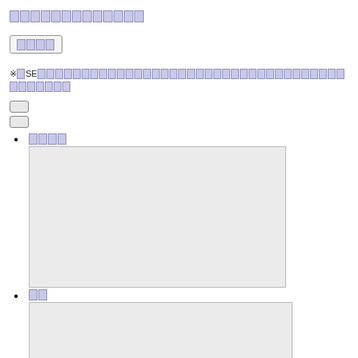□□□□□□□□□□□□□
□□□□
※□SE□□□□□□□□□□□□□□□□□□□□□□□□□□□□□□□□□□□□□□□□□□□
[Figure (other): Two radio button UI elements (small rounded rectangles)]
□□□□ [link with content box]
□□ [label with content box]